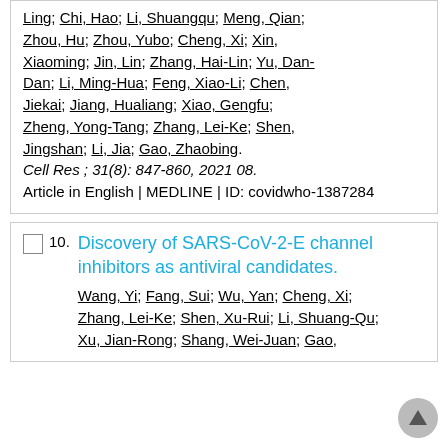Ling; Chi, Hao; Li, Shuangqu; Meng, Qian; Zhou, Hu; Zhou, Yubo; Cheng, Xi; Xin, Xiaoming; Jin, Lin; Zhang, Hai-Lin; Yu, Dan-Dan; Li, Ming-Hua; Feng, Xiao-Li; Chen, Jiekai; Jiang, Hualiang; Xiao, Gengfu; Zheng, Yong-Tang; Zhang, Lei-Ke; Shen, Jingshan; Li, Jia; Gao, Zhaobing.
Cell Res ; 31(8): 847-860, 2021 08.
Article in English | MEDLINE | ID: covidwho-1387284
Discovery of SARS-CoV-2-E channel inhibitors as antiviral candidates.
Wang, Yi; Fang, Sui; Wu, Yan; Cheng, Xi; Zhang, Lei-Ke; Shen, Xu-Rui; Li, Shuang-Qu; Xu, Jian-Rong; Shang, Wei-Juan; Gao,